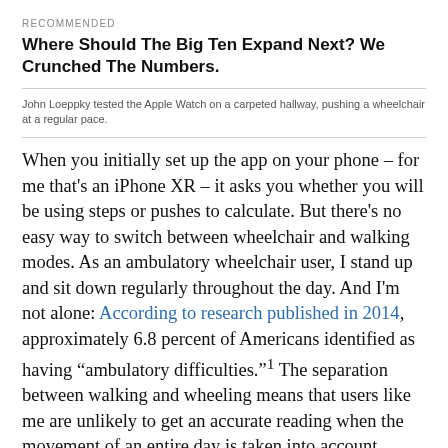RECOMMENDED
Where Should The Big Ten Expand Next? We Crunched The Numbers.
John Loeppky tested the Apple Watch on a carpeted hallway, pushing a wheelchair at a regular pace.
When you initially set up the app on your phone – for me that's an iPhone XR – it asks you whether you will be using steps or pushes to calculate. But there's no easy way to switch between wheelchair and walking modes. As an ambulatory wheelchair user, I stand up and sit down regularly throughout the day. And I'm not alone: According to research published in 2014, approximately 6.8 percent of Americans identified as having “ambulatory difficulties.”¹ The separation between walking and wheeling means that users like me are unlikely to get an accurate reading when the movement of an entire day is taken into account.